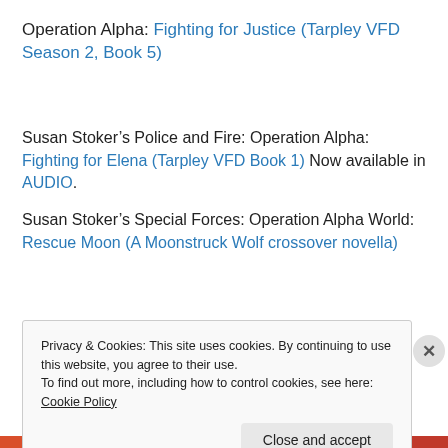Operation Alpha: Fighting for Justice (Tarpley VFD Season 2, Book 5)
Susan Stoker's Police and Fire: Operation Alpha: Fighting for Elena (Tarpley VFD Book 1) Now available in AUDIO.
Susan Stoker's Special Forces: Operation Alpha World: Rescue Moon (A Moonstruck Wolf crossover novella)
Privacy & Cookies: This site uses cookies. By continuing to use this website, you agree to their use.
To find out more, including how to control cookies, see here: Cookie Policy